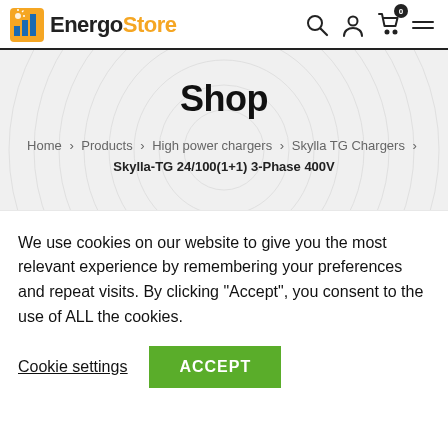EnergoStore — navigation header with logo, search, account, cart (0), and menu icons
Shop
Home > Products > High power chargers > Skylla TG Chargers > Skylla-TG 24/100(1+1) 3-Phase 400V
We use cookies on our website to give you the most relevant experience by remembering your preferences and repeat visits. By clicking “Accept”, you consent to the use of ALL the cookies.
Cookie settings   ACCEPT